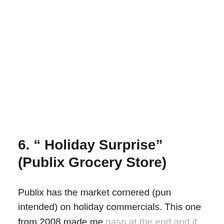6. " Holiday Surprise" (Publix Grocery Store)
Publix has the market cornered (pun intended) on holiday commercials. This one from 2008 made me gasp at the end and if you thought you ugly cried during their Home for The Holidays commercial,